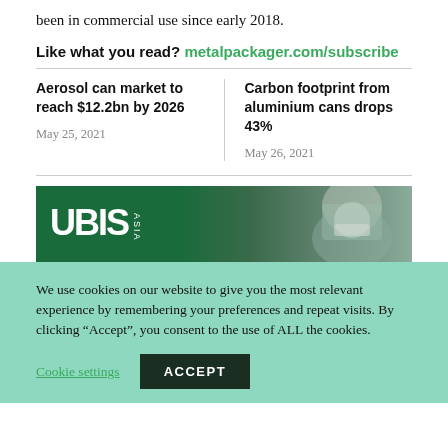been in commercial use since early 2018.
Like what you read? metalpackager.com/subscribe
Aerosol can market to reach $12.2bn by 2026
May 25, 2021
Carbon footprint from aluminium cans drops 43%
May 26, 2021
[Figure (advertisement): UBIS ASIA banner advertisement with dark green background and a person wearing a mask and safety goggles on the right side]
We use cookies on our website to give you the most relevant experience by remembering your preferences and repeat visits. By clicking “Accept”, you consent to the use of ALL the cookies.
Cookie settings  ACCEPT